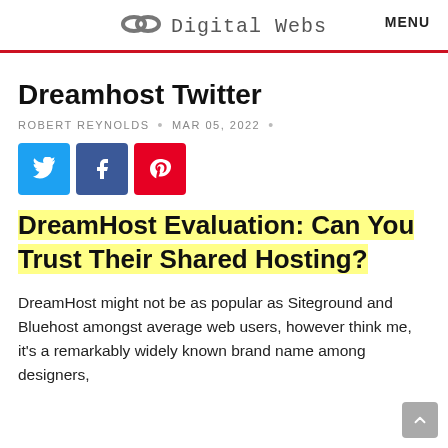Digital Webs  MENU
Dreamhost Twitter
ROBERT REYNOLDS  •  MAR 05, 2022  •
[Figure (infographic): Three social share buttons: Twitter (blue), Facebook (dark blue), Pinterest (red)]
DreamHost Evaluation: Can You Trust Their Shared Hosting?
DreamHost might not be as popular as Siteground and Bluehost amongst average web users, however think me, it's a remarkably widely known brand name among designers,